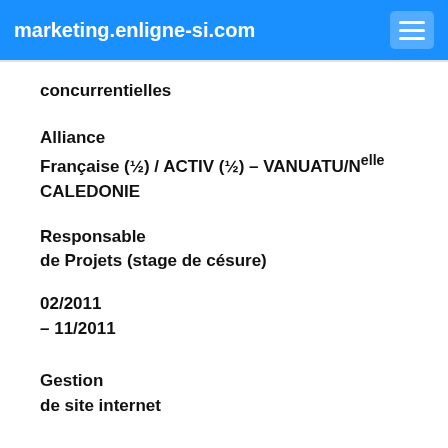marketing.enligne-si.com
concurrentielles
Alliance Française (½) / ACTIV (½) – VANUATU/Nelle CALEDONIE
Responsable de Projets (stage de césure)
02/2011 – 11/2011
Gestion de site internet